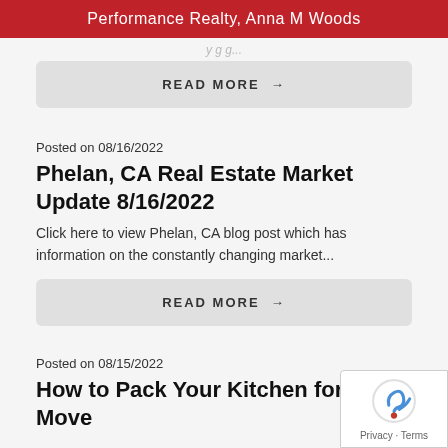Performance Realty, Anna M Woods
READ MORE →
Posted on 08/16/2022
Phelan, CA Real Estate Market Update 8/16/2022
Click here to view Phelan, CA blog post which has information on the constantly changing market...
READ MORE →
Posted on 08/15/2022
How to Pack Your Kitchen for a Move